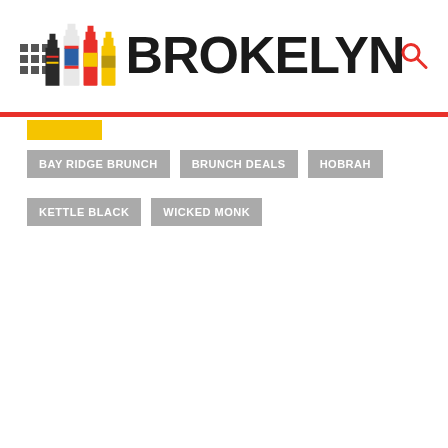BROKELYN
BAY RIDGE BRUNCH
BRUNCH DEALS
HOBRAH
KETTLE BLACK
WICKED MONK